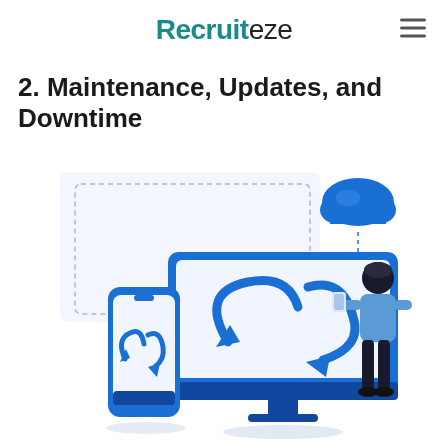Recruiteze
2. Maintenance, Updates, and Downtime
[Figure (illustration): Illustration showing cloud sync/update concept: a desktop monitor with circular sync arrows and a person standing next to it holding a tablet, a smartphone in the foreground also showing sync arrows, and a cloud with a dashed dotted line connecting to the monitor from above. Blue and white color scheme.]